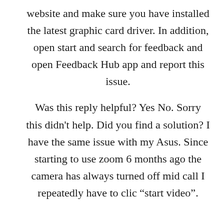website and make sure you have installed the latest graphic card driver. In addition, open start and search for feedback and open Feedback Hub app and report this issue. Was this reply helpful? Yes No. Sorry this didn't help. Did you find a solution? I have the same issue with my Asus. Since starting to use zoom 6 months ago the camera has always turned off mid call I repeatedly have to clic “start video”.